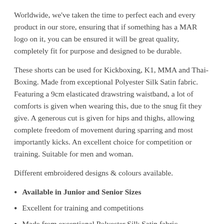Worldwide, we've taken the time to perfect each and every product in our store, ensuring that if something has a MAR logo on it, you can be ensured it will be great quality, completely fit for purpose and designed to be durable.
These shorts can be used for Kickboxing, K1, MMA and Thai-Boxing. Made from exceptional Polyester Silk Satin fabric. Featuring a 9cm elasticated drawstring waistband, a lot of comforts is given when wearing this, due to the snug fit they give. A generous cut is given for hips and thighs, allowing complete freedom of movement during sparring and most importantly kicks. An excellent choice for competition or training. Suitable for men and woman.
Different embroidered designs & colours available.
Available in Junior and Senior Sizes
Excellent for training and competitions
Made from exceptional Polyester Silk Satin fabric